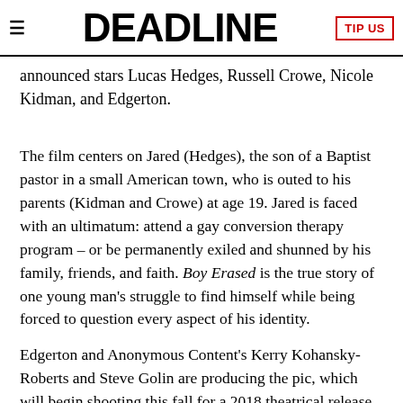DEADLINE
announced stars Lucas Hedges, Russell Crowe, Nicole Kidman, and Edgerton.
The film centers on Jared (Hedges), the son of a Baptist pastor in a small American town, who is outed to his parents (Kidman and Crowe) at age 19. Jared is faced with an ultimatum: attend a gay conversion therapy program – or be permanently exiled and shunned by his family, friends, and faith. Boy Erased is the true story of one young man's struggle to find himself while being forced to question every aspect of his identity.
Edgerton and Anonymous Content's Kerry Kohansky-Roberts and Steve Golin are producing the pic, which will begin shooting this fall for a 2018 theatrical release. Conley will serve as a consultant to ensure an accurate adaption of his memoir, which was published